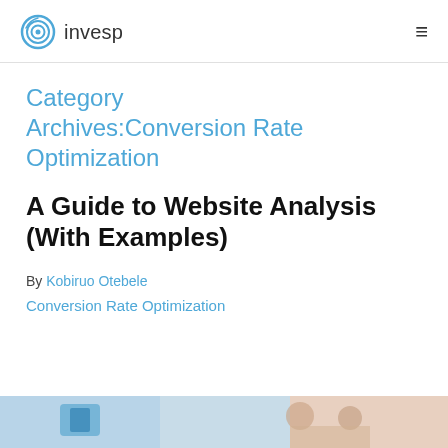invesp
Category Archives:Conversion Rate Optimization
A Guide to Website Analysis (With Examples)
By Kobiruo Otebele
Conversion Rate Optimization
[Figure (photo): Partial image strip at bottom of page showing people working, partially cropped]